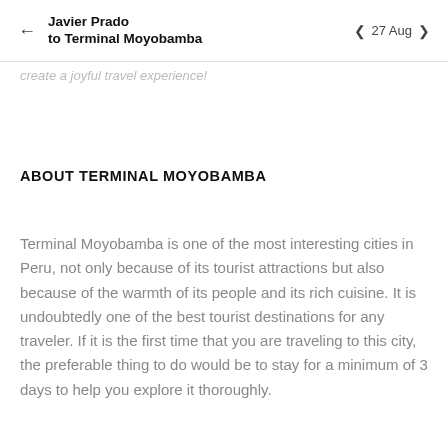Javier Prado to Terminal Moyobamba  ‹ 27 Aug ›
create a joyful travel experience!
ABOUT TERMINAL MOYOBAMBA
Terminal Moyobamba is one of the most interesting cities in Peru, not only because of its tourist attractions but also because of the warmth of its people and its rich cuisine. It is undoubtedly one of the best tourist destinations for any traveler. If it is the first time that you are traveling to this city, the preferable thing to do would be to stay for a minimum of 3 days to help you explore it thoroughly.